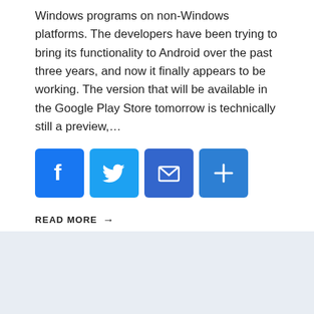Windows programs on non-Windows platforms. The developers have been trying to bring its functionality to Android over the past three years, and now it finally appears to be working. The version that will be available in the Google Play Store tomorrow is technically still a preview,…
[Figure (other): Social sharing icons row: Facebook (blue), Twitter (light blue), Email (dark blue), Share/Plus (blue)]
READ MORE →